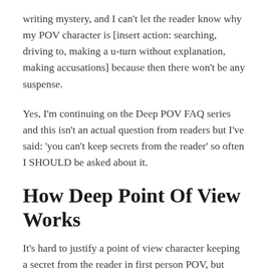writing mystery, and I can't let the reader know why my POV character is [insert action: searching, driving to, making a u-turn without explanation, making accusations] because then there won't be any suspense.
Yes, I'm continuing on the Deep POV FAQ series and this isn't an actual question from readers but I've said: 'you can't keep secrets from the reader' so often I SHOULD be asked about it.
How Deep Point Of View Works
It's hard to justify a point of view character keeping a secret from the reader in first person POV, but especially so in deep point of view. In Deep POV,